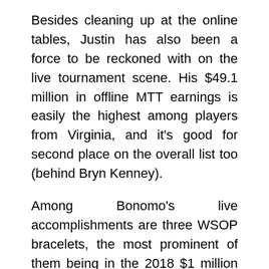Besides cleaning up at the online tables, Justin has also been a force to be reckoned with on the live tournament scene. His $49.1 million in offline MTT earnings is easily the highest among players from Virginia, and it's good for second place on the overall list too (behind Bryn Kenney).
Among Bonomo's live accomplishments are three WSOP bracelets, the most prominent of them being in the 2018 $1 million buy-in Big One for One Drop event. He picked up a cool $10,000,000 for his first-place finish. In that same year, Justin won the 2018 Super High Roller Bowl at the Aria in Las Vegas for $5,000,000.